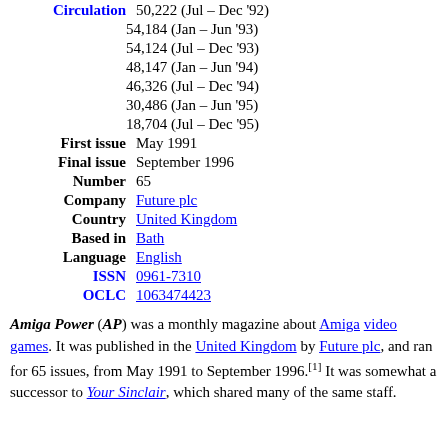| Label | Value |
| --- | --- |
| Circulation | 50,222 (Jul – Dec '92) |
|  | 54,184 (Jan – Jun '93) |
|  | 54,124 (Jul – Dec '93) |
|  | 48,147 (Jan – Jun '94) |
|  | 46,326 (Jul – Dec '94) |
|  | 30,486 (Jan – Jun '95) |
|  | 18,704 (Jul – Dec '95) |
| First issue | May 1991 |
| Final issue | September 1996 |
| Number | 65 |
| Company | Future plc |
| Country | United Kingdom |
| Based in | Bath |
| Language | English |
| ISSN | 0961-7310 |
| OCLC | 1063474423 |
Amiga Power (AP) was a monthly magazine about Amiga video games. It was published in the United Kingdom by Future plc, and ran for 65 issues, from May 1991 to September 1996.[1] It was somewhat a successor to Your Sinclair, which shared many of the same staff.